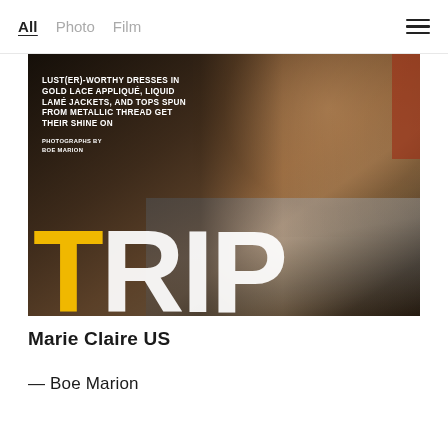All  Photo  Film
[Figure (photo): Magazine editorial cover image for 'TRIP' — a woman in a gold floral dress bending over plastic bags in an industrial setting. Large bold text overlay reads: LUST(ER)-WORTHY DRESSES IN GOLD LACE APPLIQUÉ, LIQUID LAMÉ JACKETS, AND TOPS SPUN FROM METALLIC THREAD GET THEIR SHINE ON. PHOTOGRAPHS BY BOE MARION. The word TRIP appears in large letters at the bottom with T in yellow and RIP in white.]
Marie Claire US
— Boe Marion